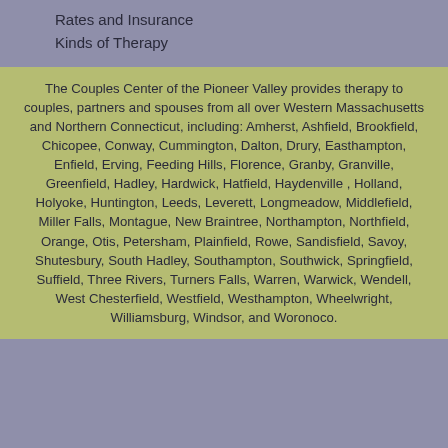Rates and Insurance
Kinds of Therapy
The Couples Center of the Pioneer Valley provides therapy to couples, partners and spouses from all over Western Massachusetts and Northern Connecticut, including: Amherst, Ashfield, Brookfield, Chicopee, Conway, Cummington, Dalton, Drury, Easthampton, Enfield, Erving, Feeding Hills, Florence, Granby, Granville, Greenfield, Hadley, Hardwick, Hatfield, Haydenville , Holland, Holyoke, Huntington, Leeds, Leverett, Longmeadow, Middlefield, Miller Falls, Montague, New Braintree, Northampton, Northfield, Orange, Otis, Petersham, Plainfield, Rowe, Sandisfield, Savoy, Shutesbury, South Hadley, Southampton, Southwick, Springfield, Suffield, Three Rivers, Turners Falls, Warren, Warwick, Wendell, West Chesterfield, Westfield, Westhampton, Wheelwright, Williamsburg, Windsor, and Woronoco.